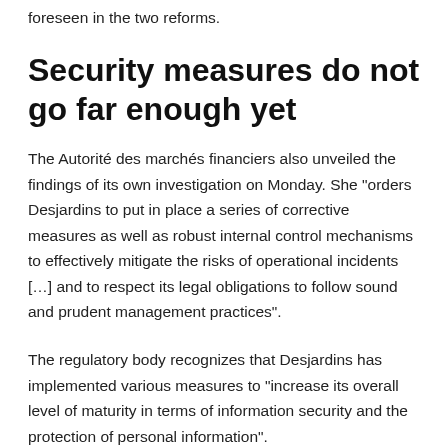foreseen in the two reforms.
Security measures do not go far enough yet
The Autorité des marchés financiers also unveiled the findings of its own investigation on Monday. She “orders Desjardins to put in place a series of corrective measures as well as robust internal control mechanisms to effectively mitigate the risks of operational incidents […] and to respect its legal obligations to follow sound and prudent management practices”.
The regulatory body recognizes that Desjardins has implemented various measures to “increase its overall level of maturity in terms of information security and the protection of personal information”.